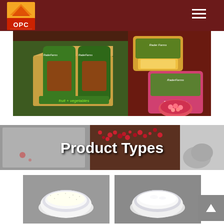OPC logo and navigation menu
[Figure (photo): Hero banner showing Rader Farms frozen fruit products including a multi-pack box with green bags labeled 'fruit + vegetables', Mango Chunks bag, and Raspberries bag against a dark red background]
Product Types
[Figure (photo): Two glass bowls containing white powder or granules shown side by side on a dark surface, part of product types section]